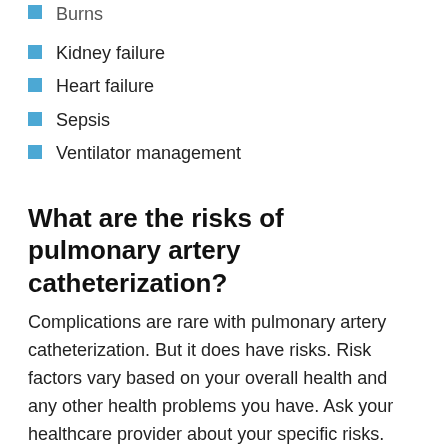Burns
Kidney failure
Heart failure
Sepsis
Ventilator management
What are the risks of pulmonary artery catheterization?
Complications are rare with pulmonary artery catheterization. But it does have risks. Risk factors vary based on your overall health and any other health problems you have. Ask your healthcare provider about your specific risks. Possible risks include:
Abnormal heart rhythms, some of which can be